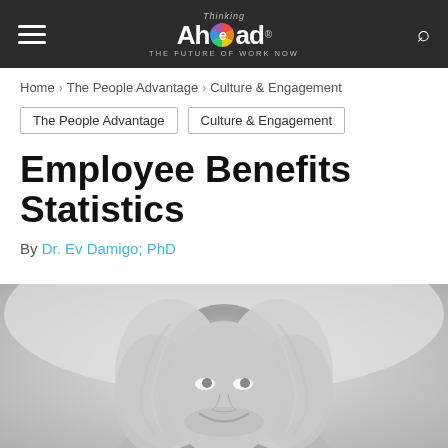Thinking Ahead — the FUTURE of WORK NOW
Home › The People Advantage › Culture & Engagement
The People Advantage | Culture & Engagement
Employee Benefits Statistics
By Dr. Ev Damigo; PhD
[Figure (photo): Black and white portrait photo of a smiling man with long silver-blond hair, looking upward]